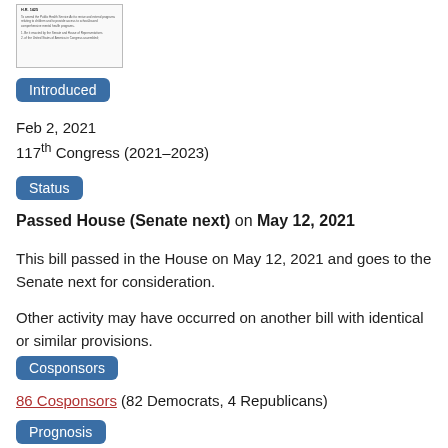[Figure (other): Thumbnail image of a bill document]
Introduced
Feb 2, 2021
117th Congress (2021–2023)
Status
Passed House (Senate next) on May 12, 2021
This bill passed in the House on May 12, 2021 and goes to the Senate next for consideration.
Other activity may have occurred on another bill with identical or similar provisions.
Cosponsors
86 Cosponsors (82 Democrats, 4 Republicans)
Prognosis
4% chance of being enacted according to Skopos Labs